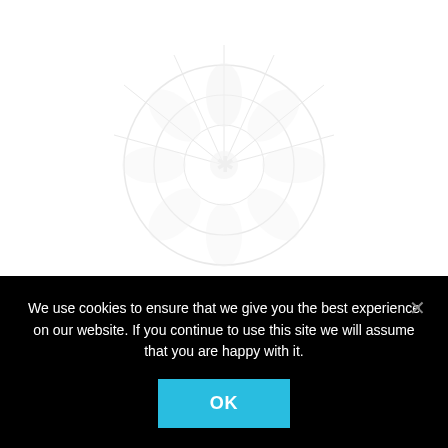[Figure (illustration): Faded/ghosted floral fan decorative image in light gray]
Downloads
Floral Fan – free download
£0.00
Add to basket
We use cookies to ensure that we give you the best experience on our website. If you continue to use this site we will assume that you are happy with it.
OK